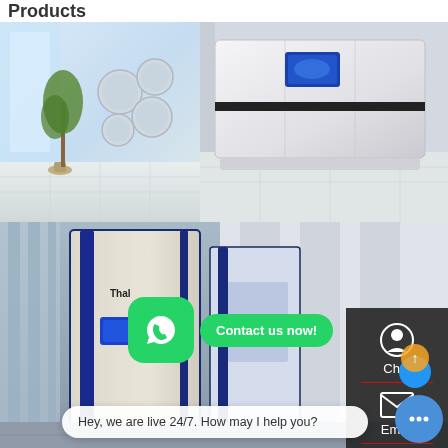Products
[Figure (photo): White modern appliance/elevator unit displayed in a bright modern interior room with a plant and decorative circular mirrors on the wall, tile floor.]
[Figure (photo): Industrial-grade tall unit (cream/beige and blue) branded 'Thal' displayed in a commercial showroom setting with glass walls.]
[Figure (infographic): Right sidebar with dark background showing Chat (headset icon), Email (envelope icon), and Contact (chat icon with dots) options separated by red dividers.]
[Figure (infographic): WhatsApp green rounded square icon with phone handset symbol, overlaid with green 'Contact us now!' pill button.]
Hey, we are live 24/7. How may I help you?